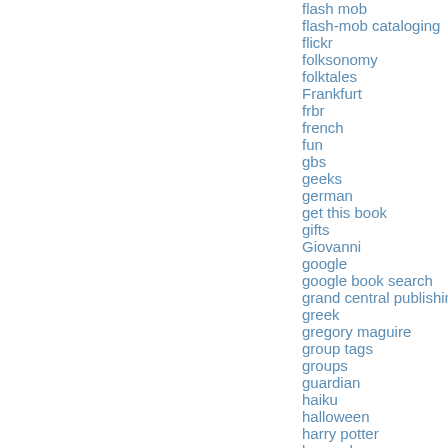flash mob
flash-mob cataloging
flickr
folksonomy
folktales
Frankfurt
frbr
french
fun
gbs
geeks
german
get this book
gifts
Giovanni
google
google book search
grand central publishing
greek
gregory maguire
group tags
groups
guardian
haiku
halloween
harry potter
harvard
harvard university
hebrew language
HelpThing
hindi
hiring